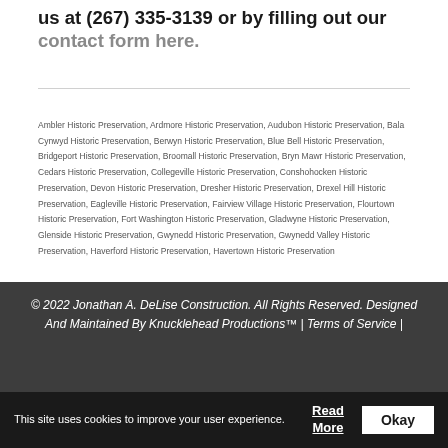us at (267) 335-3139 or by filling out our contact form here.
Ambler Historic Preservation, Ardmore Historic Preservation, Audubon Historic Preservation, Bala Cynwyd Historic Preservation, Berwyn Historic Preservation, Blue Bell Historic Preservation, Bridgeport Historic Preservation, Broomall Historic Preservation, Bryn Mawr Historic Preservation, Cedars Historic Preservation, Collegeville Historic Preservation, Conshohocken Historic Preservation, Devon Historic Preservation, Dresher Historic Preservation, Drexel Hill Historic Preservation, Eagleville Historic Preservation, Fairview Village Historic Preservation, Flourtown Historic Preservation, Fort Washington Historic Preservation, Gladwyne Historic Preservation, Glenside Historic Preservation, Gwynedd Historic Preservation, Gwynedd Valley Historic Preservation, Haverford Historic Preservation, Havertown Historic Preservation
© 2022 Jonathan A. DeLise Construction. All Rights Reserved. Designed And Maintained By Knucklehead Productions™ | Terms of Service |
This site uses cookies to improve your user experience.
Read More
Okay